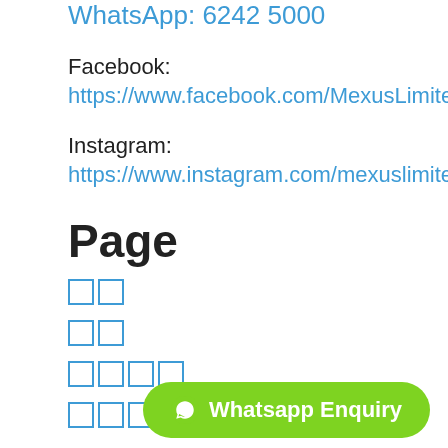WhatsApp: 6242 5000
Facebook:
https://www.facebook.com/MexusLimited
Instagram:
https://www.instagram.com/mexuslimited/
Page
（CJK characters）
（CJK characters）
（CJK characters）
（CJK characters）
Accounting